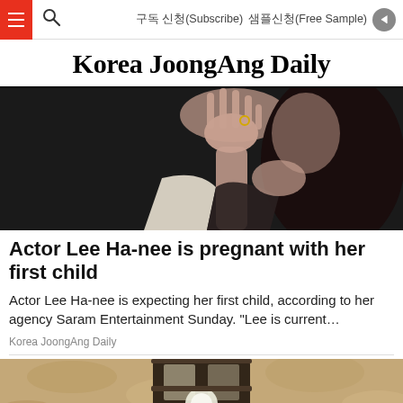≡  🔍  구독 신청(Subscribe)  샘플신청(Free Sample)  ➤
Korea JoongAng Daily
[Figure (photo): A woman with long dark hair raising her hand, wearing a ring, dressed in a white and dark outfit against a dark background.]
Actor Lee Ha-nee is pregnant with her first child
Actor Lee Ha-nee is expecting her first child, according to her agency Saram Entertainment Sunday. "Lee is current…
Korea JoongAng Daily
[Figure (photo): A lantern or outdoor light fixture mounted on a textured stone or plaster wall, partially visible at the bottom of the page.]